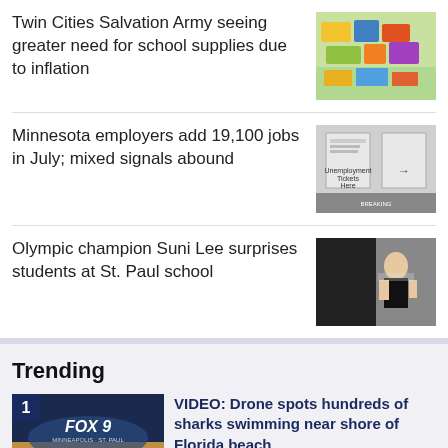Twin Cities Salvation Army seeing greater need for school supplies due to inflation
[Figure (photo): Colorful school supplies boxes and items]
Minnesota employers add 19,100 jobs in July; mixed signals abound
[Figure (photo): Unemployment Tickets Here sign]
Olympic champion Suni Lee surprises students at St. Paul school
[Figure (photo): Suni Lee at St. Paul school]
Trending
VIDEO: Drone spots hundreds of sharks swimming near shore of Florida beach
[Figure (photo): FOX 9 Minneapolis-St. Paul logo over city skyline]
Cedric Alexander pushes back on Minneapolis critics, urges residents to
[Figure (photo): Cedric Alexander at podium]